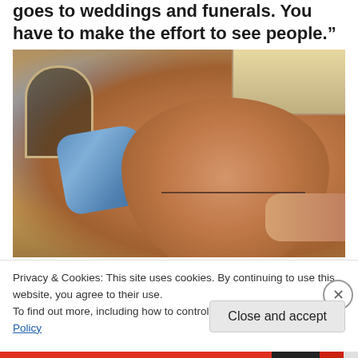goes to weddings and funerals. You have to make the effort to see people."
[Figure (photo): A smiling older man with glasses and grey hair, wearing a watch, photographed indoors near an arched window and kitchen cabinets. Another person in a blue shirt is visible behind him.]
Privacy & Cookies: This site uses cookies. By continuing to use this website, you agree to their use.
To find out more, including how to control cookies, see here: Cookie Policy